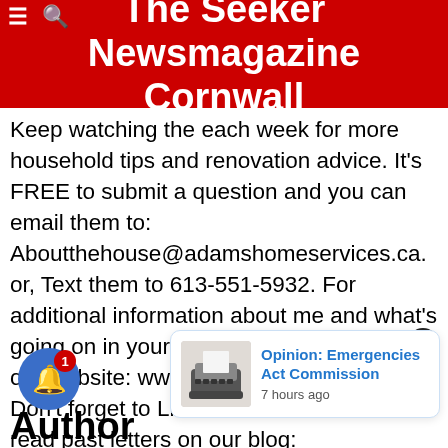The Seeker Newsmagazine Cornwall
Keep watching the each week for more household tips and renovation advice. It's FREE to submit a question and you can email them to: Aboutthehouse@adamshomeservices.ca. or, Text them to 613-551-5932. For additional information about me and what's going on in your community, please visit our website: www.adamshomeservices.ca. Don't forget to Like us on Facebook and read past letters on our blog: adamshomeservices.blogspot.ca. And remember, whatever you do, do it well... because a job w
Author
[Figure (screenshot): Popup notification card showing Opinion: Emergencies Act Commission article with typewriter image, 7 hours ago timestamp]